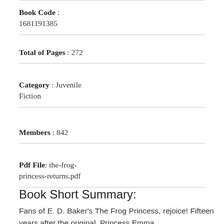Book Code : 1681191385
Total of Pages : 272
Category : Juvenile Fiction
Members : 842
Pdf File: the-frog-princess-returns.pdf
Book Short Summary:
Fans of E. D. Baker's The Frog Princess, rejoice! Fifteen years after the original, Princess Emma,